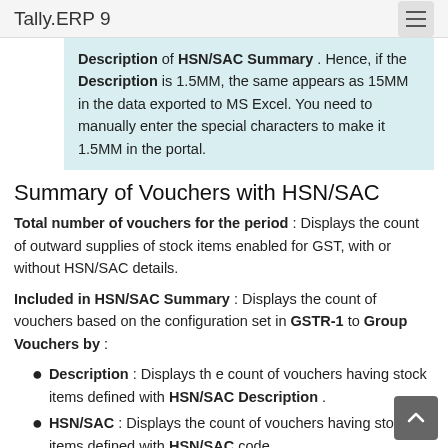Tally.ERP 9
Description of HSN/SAC Summary . Hence, if the Description is 1.5MM, the same appears as 15MM in the data exported to MS Excel. You need to manually enter the special characters to make it 1.5MM in the portal.
Summary of Vouchers with HSN/SAC
Total number of vouchers for the period : Displays the count of outward supplies of stock items enabled for GST, with or without HSN/SAC details.
Included in HSN/SAC Summary : Displays the count of vouchers based on the configuration set in GSTR-1 to Group Vouchers by :
Description : Displays th e count of vouchers having stock items defined with HSN/SAC Description .
HSN/SAC : Displays the count of vouchers having stock items defined with HSN/SAC code.